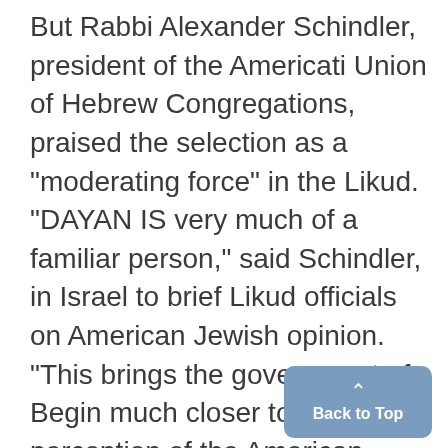But Rabbi Alexander Schindler, president of the American Union of Hebrew Congregations, praised the selection as a "moderating force" in the Likud. "DAYAN IS very much of a familiar person," said Schindler, in Israel to brief Likud officials on American Jewish opinion. "This brings the government of Begin much closer to the perception of the American community and therefore